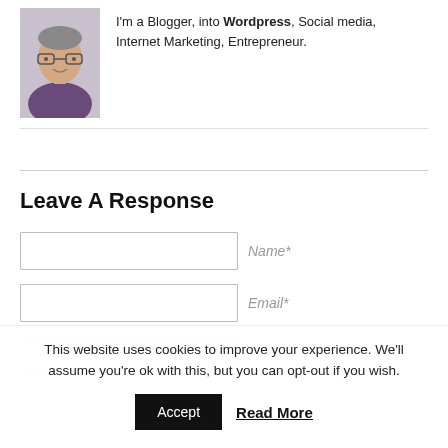[Figure (photo): Portrait photo of a man wearing glasses and a purple shirt, with a light background.]
I'm a Blogger, into Wordpress, Social media, Internet Marketing, Entrepreneur.
Leave A Response
Name*
Email*
Website
This website uses cookies to improve your experience. We'll assume you're ok with this, but you can opt-out if you wish.
Accept
Read More